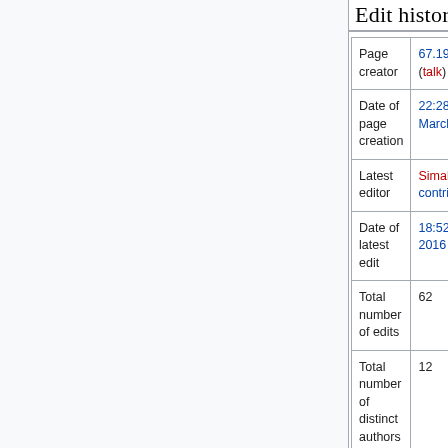Edit history
|  |  |
| --- | --- |
| Page creator | 67.191.167.40 (talk) |
| Date of page creation | 22:28, 24 March 2008 |
| Latest editor | Simalot (talk | contribs) |
| Date of latest edit | 18:52, 6 July 2016 |
| Total number of edits | 62 |
| Total number of distinct authors | 12 |
| Recent number of edits (within past 90 days) | 0 |
| Recent number of distinct authors | 0 |